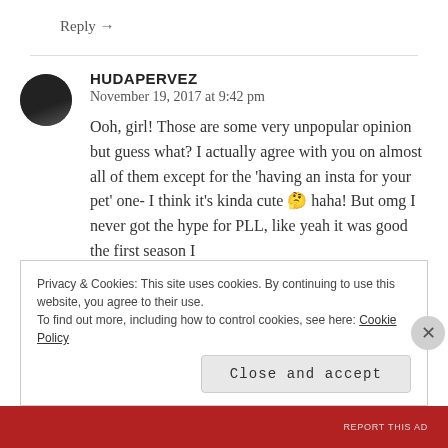Reply →
HUDAPERVEZ
November 19, 2017 at 9:42 pm

Ooh, girl! Those are some very unpopular opinion but guess what? I actually agree with you on almost all of them except for the 'having an insta for your pet' one- I think it's kinda cute 🤔 haha! But omg I never got the hype for PLL, like yeah it was good the first season I
Privacy & Cookies: This site uses cookies. By continuing to use this website, you agree to their use.
To find out more, including how to control cookies, see here: Cookie Policy
Close and accept